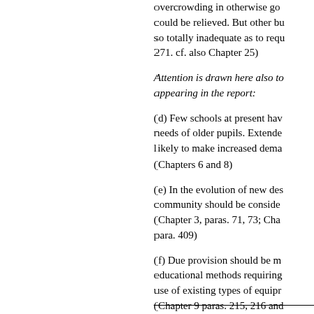overcrowding in otherwise go could be relieved. But other bu so totally inadequate as to requ 271. cf. also Chapter 25)
Attention is drawn here also to appearing in the report:
(d) Few schools at present hav needs of older pupils. Extende likely to make increased dema (Chapters 6 and 8)
(e) In the evolution of new des community should be conside (Chapter 3, paras. 71, 73; Cha para. 409)
(f) Due provision should be m educational methods requiring use of existing types of equipr (Chapter 9 paras. 215, 216 and